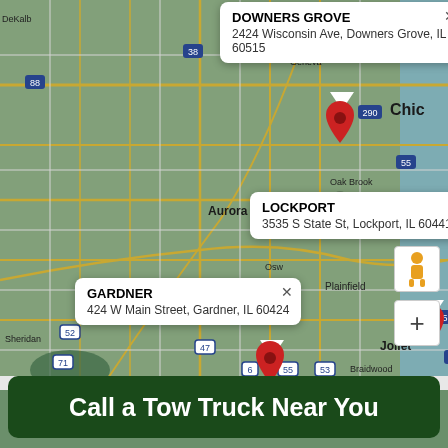[Figure (map): Google Maps screenshot showing the greater Chicago/Joliet, IL area with three location popups pinned: Downers Grove (2424 Wisconsin Ave, Downers Grove, IL 60515), Lockport (3535 S State St, Lockport, IL 60441), and Gardner (424 W Main Street, Gardner, IL 60424). Each popup has a red map pin marker and an X close button. The map shows roads, cities, and highway labels typical of Google Maps.]
Call a Tow Truck Near You
Keyboard shortcuts  Map data ©2022 Google  Terms of Use